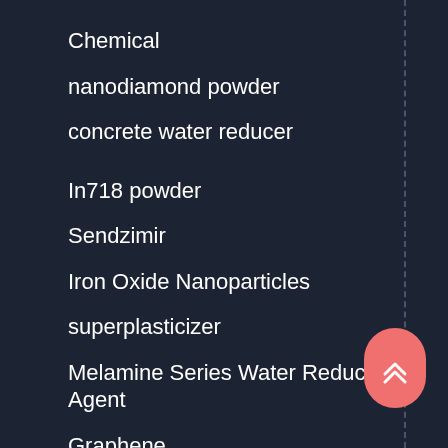Chemical
nanodiamond powder
concrete water reducer
In718 powder
Sendzimir
Iron Oxide Nanoparticles
superplasticizer
Melamine Series Water Reducing Agent
Graphene
18Ni300 Powder
silica fume
France